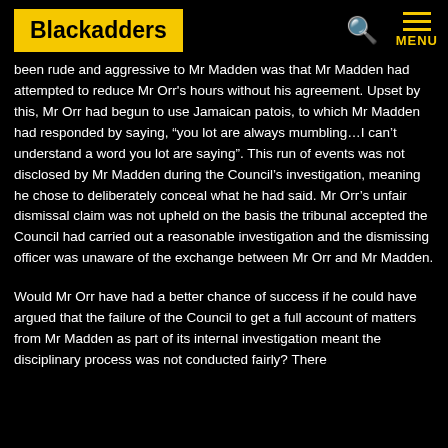Blackadders
been rude and aggressive to Mr Madden was that Mr Madden had attempted to reduce Mr Orr's hours without his agreement. Upset by this, Mr Orr had begun to use Jamaican patois, to which Mr Madden had responded by saying, “you lot are always mumbling…I can’t understand a word you lot are saying”. This run of events was not disclosed by Mr Madden during the Council’s investigation, meaning he chose to deliberately conceal what he had said. Mr Orr’s unfair dismissal claim was not upheld on the basis the tribunal accepted the Council had carried out a reasonable investigation and the dismissing officer was unaware of the exchange between Mr Orr and Mr Madden.
Would Mr Orr have had a better chance of success if he could have argued that the failure of the Council to get a full account of matters from Mr Madden as part of its internal investigation meant the disciplinary process was not conducted fairly? There